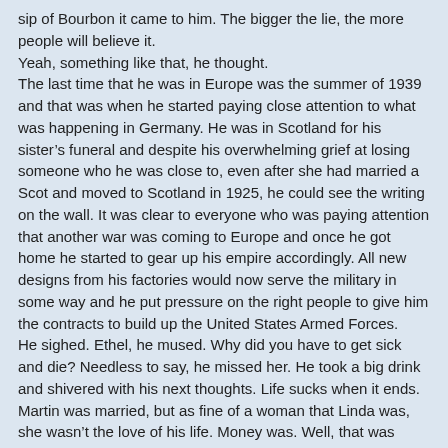sip of Bourbon it came to him. The bigger the lie, the more people will believe it.
Yeah, something like that, he thought.
The last time that he was in Europe was the summer of 1939 and that was when he started paying close attention to what was happening in Germany. He was in Scotland for his sister's funeral and despite his overwhelming grief at losing someone who he was close to, even after she had married a Scot and moved to Scotland in 1925, he could see the writing on the wall. It was clear to everyone who was paying attention that another war was coming to Europe and once he got home he started to gear up his empire accordingly. All new designs from his factories would now serve the military in some way and he put pressure on the right people to give him the contracts to build up the United States Armed Forces.
He sighed. Ethel, he mused. Why did you have to get sick and die? Needless to say, he missed her. He took a big drink and shivered with his next thoughts. Life sucks when it ends.
Martin was married, but as fine of a woman that Linda was, she wasn't the love of his life. Money was. Well, that was what Ethel used to tell Martin. She teased him about it. She was one of the few people that could say anything to him and was about the only one who could completely get away with it. Even his wife and two kids couldn't get away without some kind of payback from him.
Ethel could – and did – get away with anything and she knew it.
She was generally a kind woman, he thought. Maybe it is a good thing